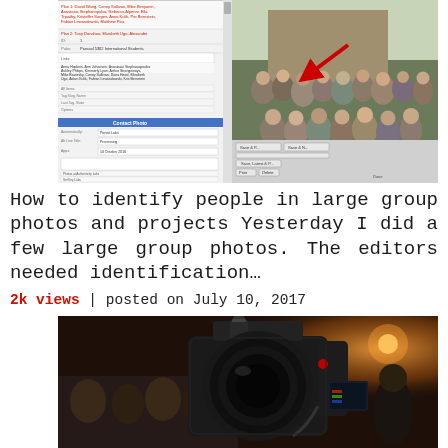[Figure (screenshot): Screenshot of a photo editing/management application showing a form panel on the left with names and fields, a group photo on the right with a red arrow pointing to someone, and control buttons at the bottom.]
How to identify people in large group photos and projects Yesterday I did a few large group photos. The editors needed identification...
2k views | posted on July 10, 2017
[Figure (photo): A DSLR camera in the foreground in focus, with a blurred audience and warm stage lighting in the background.]